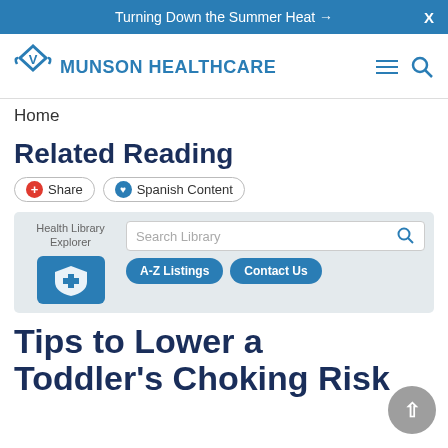Turning Down the Summer Heat →  X
[Figure (logo): Munson Healthcare logo with blue diamond V icon and text MUNSON HEALTHCARE]
Home
Related Reading
Share  Spanish Content
[Figure (screenshot): Health Library Explorer widget with search bar, A-Z Listings and Contact Us buttons]
Tips to Lower a Toddler's Choking Risk